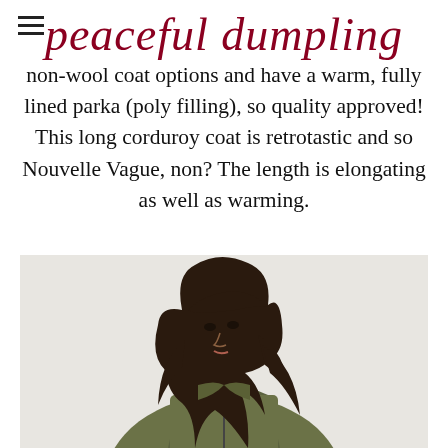peaceful dumpling
non-wool coat options and have a warm, fully lined parka (poly filling), so quality approved! This long corduroy coat is retrotastic and so Nouvelle Vague, non? The length is elongating as well as warming.
[Figure (photo): Woman with long dark hair and bangs wearing an olive/khaki green coat, photographed from the side against a light grey background]